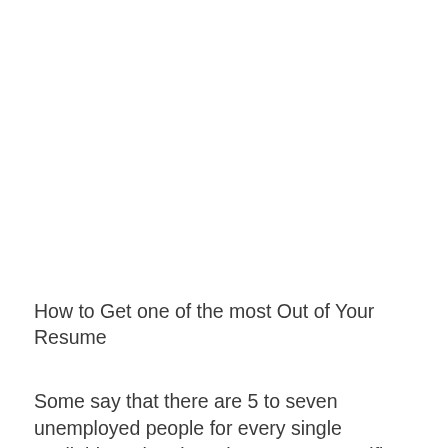How to Get one of the most Out of Your Resume
Some say that there are 5 to seven unemployed people for every single available task today. Those are not terrific